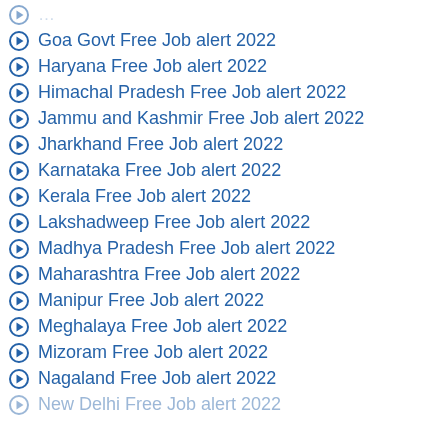Goa Govt Free Job alert 2022
Haryana Free Job alert 2022
Himachal Pradesh Free Job alert 2022
Jammu and Kashmir Free Job alert 2022
Jharkhand Free Job alert 2022
Karnataka Free Job alert 2022
Kerala Free Job alert 2022
Lakshadweep Free Job alert 2022
Madhya Pradesh Free Job alert 2022
Maharashtra Free Job alert 2022
Manipur Free Job alert 2022
Meghalaya Free Job alert 2022
Mizoram Free Job alert 2022
Nagaland Free Job alert 2022
New Delhi Free Job alert 2022